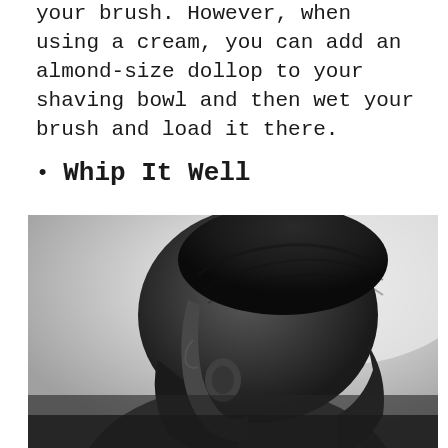your brush. However, when using a cream, you can add an almond-size dollop to your shaving bowl and then wet your brush and load it there.
Whip It Well
[Figure (photo): Black and white profile photo of a man with a short fade haircut, viewed from the side showing his ear and the back of his head against a light background.]